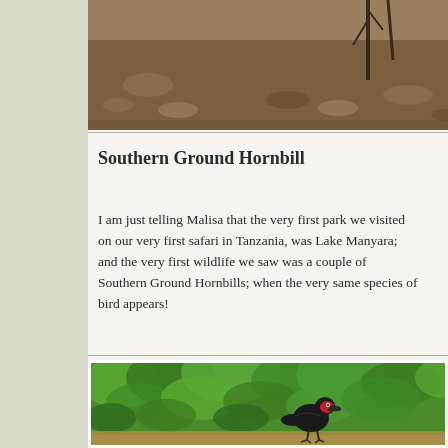[Figure (photo): Top portion of a wildlife/nature photo showing rocky dry ground with sparse trees, partially cropped at top of page]
Southern Ground Hornbill
I am just telling Malisa that the very first park we visited on our very first safari in Tanzania, was Lake Manyara; and the very first wildlife we saw was a couple of Southern Ground Hornbills; when the very same species of bird appears!
[Figure (photo): Photo of a Southern Ground Hornbill, a large black bird with red face markings, walking on a dirt path with lush green vegetation in the background]